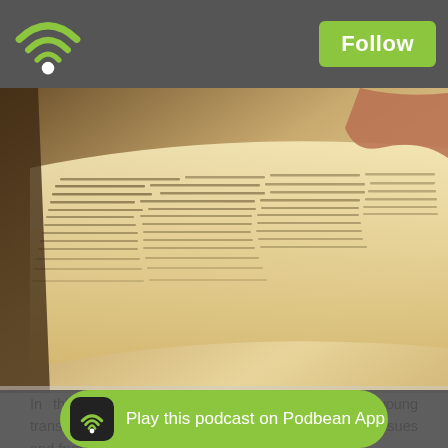Follow
[Figure (photo): Close-up photo of an open book or directory with dense printed text, pages curling, warm yellowish lighting, a hand visible at top right.]
In this episode we answer a question from a young transgender girl who is curious about the potential issues and frustrations involved with changing your name.
Be sure and check out Kath's other podcast Lab In the Time of Coronavirus.
And if you want to learn more about Life Magazine's privacy issues, check out this Dollop episode.
Support us on Patreon to help us keep making gre...
Copyright...
[Figure (screenshot): Podbean App banner with green pill button saying 'Play this podcast on Podbean App']